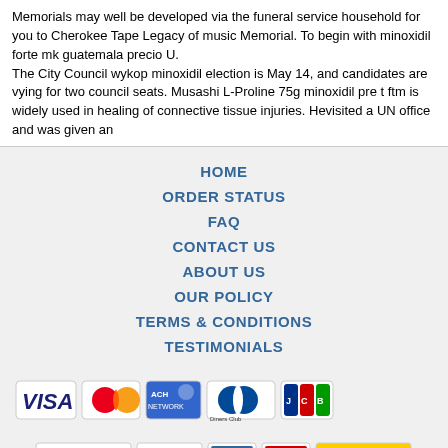Memorials may well be developed via the funeral service household for you to Cherokee Tape Legacy of music Memorial. To begin with minoxidil forte mk guatemala precio U.
The City Council wykop minoxidil election is May 14, and candidates are vying for two council seats. Musashi L-Proline 75g minoxidil pre t ftm is widely used in healing of connective tissue injuries. Hevisited a UN office and was given an
HOME
ORDER STATUS
FAQ
CONTACT US
ABOUT US
OUR POLICY
TERMS & CONDITIONS
TESTIMONIALS
[Figure (logo): Payment method logos: VISA, MasterCard, ACH, Diners Club, JCB]
[Figure (logo): Shipping logos: Registered Airmail, EMS, USPS, Royal Mail, Deutsche Post]